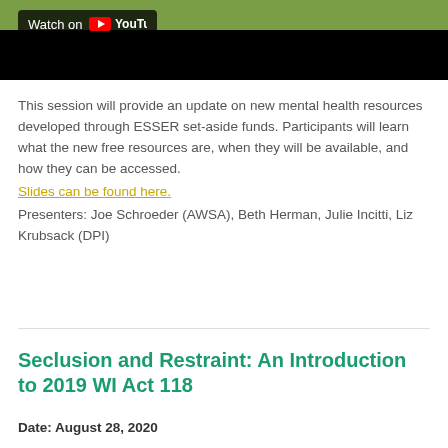[Figure (screenshot): YouTube video watch banner — dark background with 'Watch on YouTube' badge in upper left, green/teal image area at top]
This session will provide an update on new mental health resources developed through ESSER set-aside funds. Participants will learn what the new free resources are, when they will be available, and how they can be accessed. Slides can be found here. Presenters: Joe Schroeder (AWSA), Beth Herman, Julie Incitti, Liz Krubsack (DPI)
Seclusion and Restraint: An Introduction to 2019 WI Act 118
Date: August 28, 2020